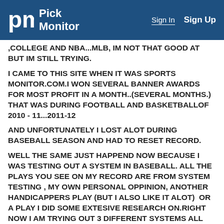Pick Monitor | Sign In  Sign Up
,COLLEGE AND NBA...MLB, IM NOT THAT GOOD AT BUT IM STILL TRYING.
I CAME TO THIS SITE WHEN IT WAS SPORTS MONITOR.COM.I WON SEVERAL BANNER AWARDS FOR MOST PROFIT IN A MONTH..(SEVERAL MONTHS.) THAT WAS DURING FOOTBALL AND BASKETBALLOF 2010 - 11...2011-12
AND UNFORTUNATELY I LOST ALOT DURING BASEBALL SEASON AND HAD TO RESET RECORD.
WELL THE SAME JUST HAPPEND NOW BECAUSE I WAS TESTING OUT A SYSTEM IN BASEBALL. ALL THE PLAYS YOU SEE ON MY RECORD ARE FROM SYSTEM TESTING , MY OWN PERSONAL OPPINION, ANOTHER HANDICAPPERS PLAY (BUT I ALSO LIKE IT ALOT)  OR A PLAY I DID SOME EXTESIVE RESEARCH ON.RIGHT NOW I AM TRYING OUT 3 DIFFERENT SYSTEMS ALL FOR MLB. ML, RL, O/U. SO ANYWAY I HOPE TO SOMEDAY BE GOOD.